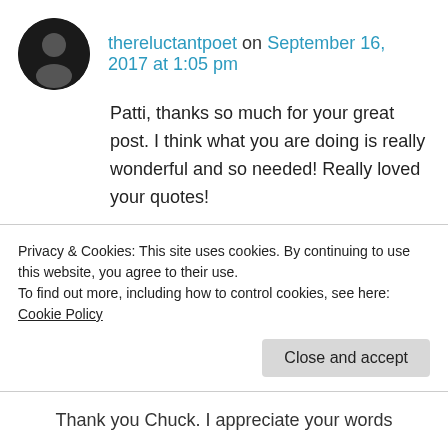thereluctantpoet on September 16, 2017 at 1:05 pm
Patti, thanks so much for your great post. I think what you are doing is really wonderful and so needed! Really loved your quotes!

Thanks so much for following my blog! I hope you will find my words worthy of your time. I will look forward to following your posts too.
Chuck
Liked by 1 person
Privacy & Cookies: This site uses cookies. By continuing to use this website, you agree to their use.
To find out more, including how to control cookies, see here: Cookie Policy
Thank you Chuck. I appreciate your words